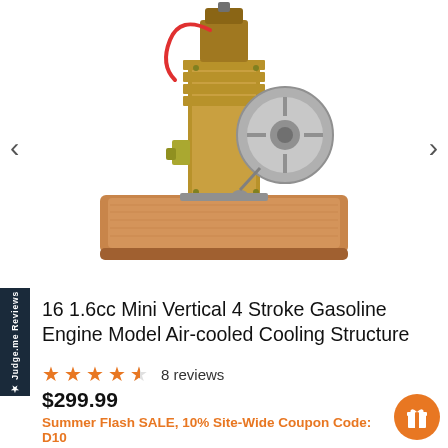[Figure (photo): Miniature vertical 4-stroke gasoline engine model on a wooden base, with brass and silver metallic components and a red wire, shown against white background. Navigation arrows on left and right.]
★ Judge.me Reviews
16 1.6cc Mini Vertical 4 Stroke Gasoline Engine Model Air-cooled Cooling Structure
★★★★☆ 8 reviews
$299.99
Summer Flash SALE, 10% Site-Wide Coupon Code: D10